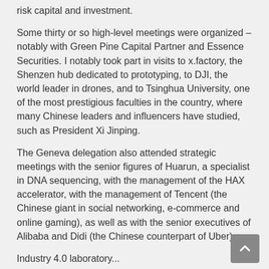risk capital and investment.
Some thirty or so high-level meetings were organized – notably with Green Pine Capital Partner and Essence Securities. I notably took part in visits to x.factory, the Shenzen hub dedicated to prototyping, to DJI, the world leader in drones, and to Tsinghua University, one of the most prestigious faculties in the country, where many Chinese leaders and influencers have studied, such as President Xi Jinping.
The Geneva delegation also attended strategic meetings with the senior figures of Huarun, a specialist in DNA sequencing, with the management of the HAX accelerator, with the management of Tencent (the Chinese giant in social networking, e-commerce and online gaming), as well as with the senior executives of Alibaba and Didi (the Chinese counterpart of Uber).
Industry 4.0 laboratory...